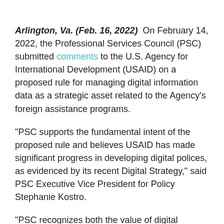Arlington, Va. (Feb. 16, 2022)  On February 14, 2022, the Professional Services Council (PSC) submitted comments to the U.S. Agency for International Development (USAID) on a proposed rule for managing digital information data as a strategic asset related to the Agency's foreign assistance programs.
“PSC supports the fundamental intent of the proposed rule and believes USAID has made significant progress in developing digital polices, as evidenced by its recent Digital Strategy,” said PSC Executive Vice President for Policy Stephanie Kostro.
“PSC recognizes both the value of digital information in international development programming and those privacy concerns related to gathering, using, and storing such information,” she continued. “It is worth noting that several countries in which the United States engages in development